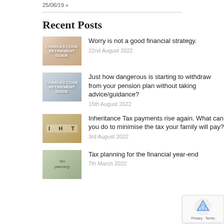25/06/19 »
Recent Posts
Worry is not a good financial strategy.
22nd August 2022
Just how dangerous is starting to withdraw from your pension plan without taking advice/guidance?
15th August 2022
Inheritance Tax payments rise again. What can you do to minimise the tax your family will pay?
3rd August 2022
Tax planning for the financial year-end
7th March 2022
[Figure (other): reCAPTCHA badge with Privacy and Terms links]